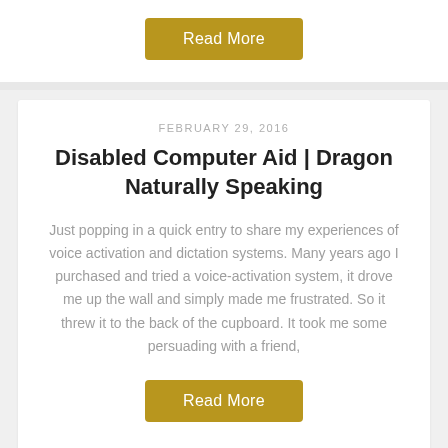Read More
FEBRUARY 29, 2016
Disabled Computer Aid | Dragon Naturally Speaking
Just popping in a quick entry to share my experiences of voice activation and dictation systems. Many years ago I purchased and tried a voice-activation system, it drove me up the wall and simply made me frustrated. So it threw it to the back of the cupboard. It took me some persuading with a friend,
Read More